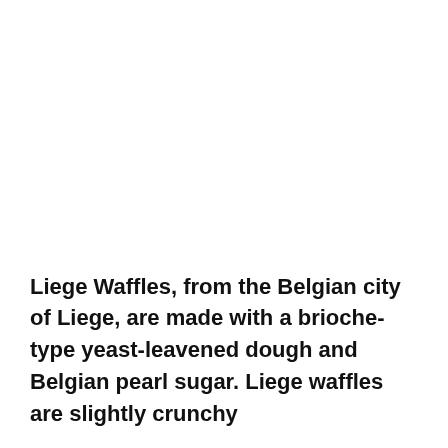Liege Waffles, from the Belgian city of Liege, are made with a brioche-type yeast-leavened dough and Belgian pearl sugar. Liege waffles are slightly crunchy